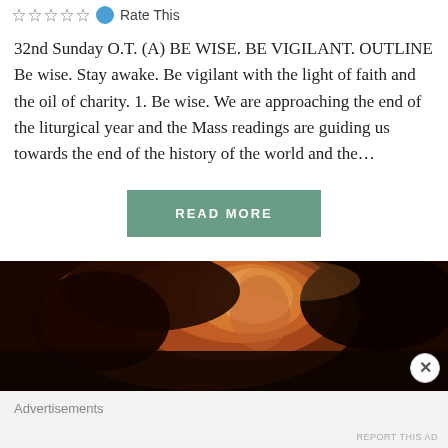Rate This
32nd Sunday O.T. (A) BE WISE. BE VIGILANT. OUTLINE Be wise. Stay awake. Be vigilant with the light of faith and the oil of charity. 1. Be wise. We are approaching the end of the liturgical year and the Mass readings are guiding us towards the end of the history of the world and the...
READ MORE
[Figure (photo): Close-up portrait of a person with curly hair, warm toned painterly image]
Advertisements